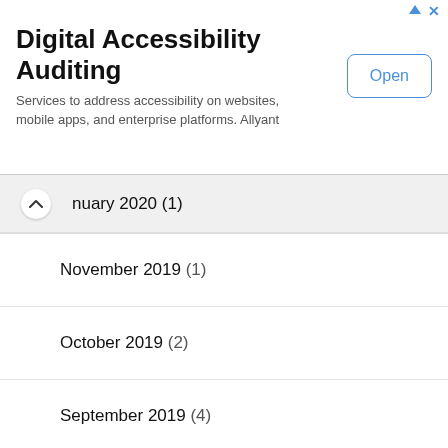[Figure (screenshot): Advertisement banner for Digital Accessibility Auditing by Allyant with an Open button]
January 2020 (1)
November 2019 (1)
October 2019 (2)
September 2019 (4)
August 2019 (2)
March 2019 (1)
February 2019 (1)
January 2019 (1)